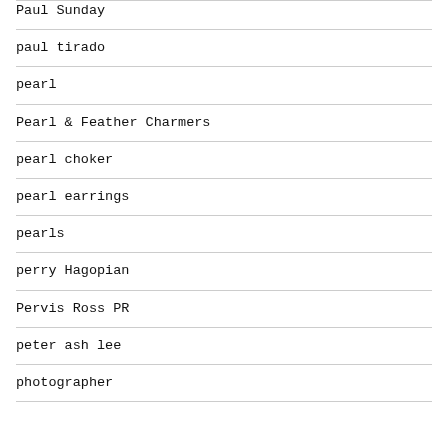Paul Sunday
paul tirado
pearl
Pearl & Feather Charmers
pearl choker
pearl earrings
pearls
perry Hagopian
Pervis Ross PR
peter ash lee
photographer